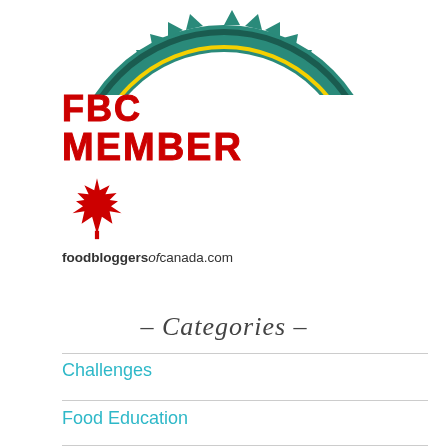[Figure (logo): Top portion of a circular badge/seal with teal/green spiky border, partially visible at top of page]
[Figure (logo): FBC Member badge with red block text 'FBC MEMBER', a red maple leaf icon, and the URL 'foodbloggersofcanada.com']
- Categories -
Challenges
Food Education